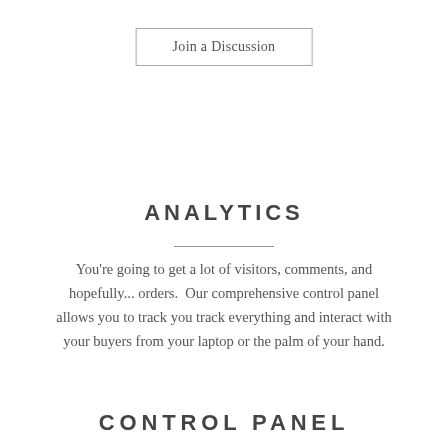Join a Discussion
ANALYTICS
You're going to get a lot of visitors, comments, and hopefully... orders.  Our comprehensive control panel allows you to track you track everything and interact with your buyers from your laptop or the palm of your hand.
CONTROL PANEL